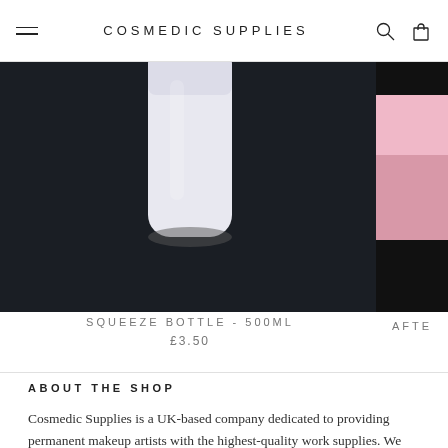COSMEDIC SUPPLIES
[Figure (photo): Squeeze bottle product photo against dark background]
SQUEEZE BOTTLE - 500ML
£3.50
[Figure (photo): Partially visible product photo with pink element against dark background]
AFTE
ABOUT THE SHOP
Cosmedic Supplies is a UK-based company dedicated to providing permanent makeup artists with the highest-quality work supplies. We work with industry technicians to ensure that each product performs to the highest standard, ultimately